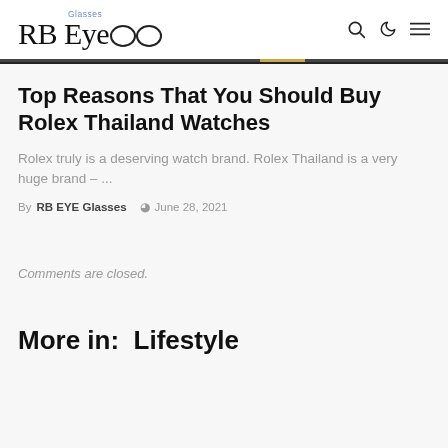RB Eye Glasses
Top Reasons That You Should Buy Rolex Thailand Watches
Rolex truly is a deserving watch brand. Rolex Thailand is a very huge brand – ...
By RB EYE Glasses  June 28, 2021
Comments are closed.
More in:  Lifestyle